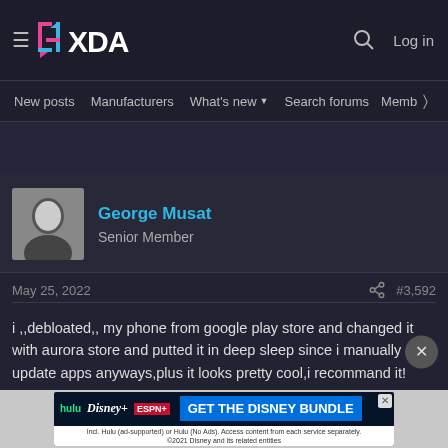XDA Developers forum header with navigation: New posts, Manufacturers, What's new, Search forums, Members
George Musat
Senior Member
May 25, 2022   #3,592
i ,,debloated,, my phone from google play store and changed it with aurora store and putted it in deep sleep since i manually update apps anyways,plus it looks pretty cool,i recommand it!
[Figure (infographic): Disney Bundle advertisement banner showing Hulu, Disney+, ESPN+ logos with 'GET THE DISNEY BUNDLE' call to action]